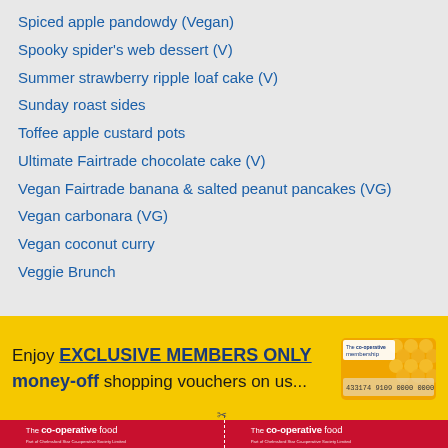Spiced apple pandowdy (Vegan)
Spooky spider's web dessert (V)
Summer strawberry ripple loaf cake (V)
Sunday roast sides
Toffee apple custard pots
Ultimate Fairtrade chocolate cake (V)
Vegan Fairtrade banana & salted peanut pancakes (VG)
Vegan carbonara (VG)
Vegan coconut curry
Veggie Brunch
Enjoy EXCLUSIVE MEMBERS ONLY money-off shopping vouchers on us...
[Figure (other): The co-operative membership card with honeycomb pattern and card number 433174 9109 0000 0000]
[Figure (logo): The co-operative food logo - Part of Chelmsford Star Co-operative Society Limited (left coupon)]
[Figure (logo): The co-operative food logo - Part of Chelmsford Star Co-operative Society Limited (right coupon)]